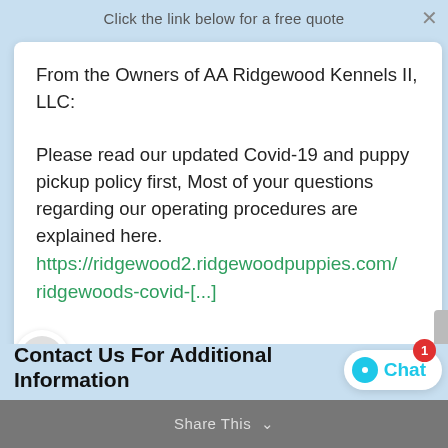Click the link below for a free quote
From the Owners of AA Ridgewood Kennels II, LLC:

Please read our updated Covid-19 and puppy pickup policy first, Most of your questions regarding our operating procedures are explained here. https://ridgewood2.ridgewoodpuppies.com/ridgewoods-covid-[...]
Type here and press enter..
Contact Us For Additional Information
Share This